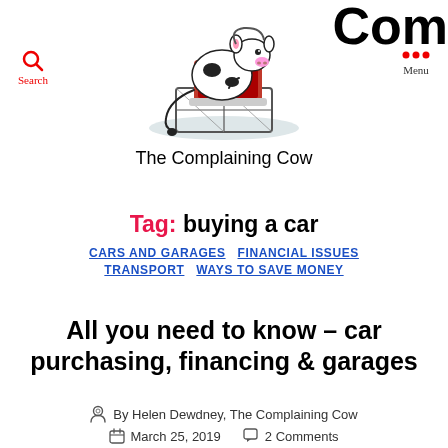[Figure (illustration): Cartoon cow sitting at a laptop computer on a wooden crate, illustrated in black and white with red laptop screen. The cow is typed at a computer, styled as a blog mascot.]
The Complaining Cow
Tag: buying a car
CARS AND GARAGES
FINANCIAL ISSUES
TRANSPORT
WAYS TO SAVE MONEY
All you need to know – car purchasing, financing & garages
By Helen Dewdney, The Complaining Cow
March 25, 2019
2 Comments